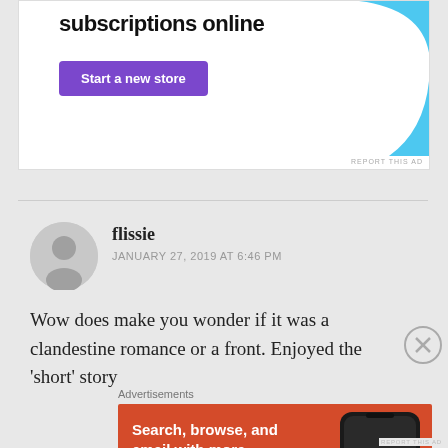[Figure (other): Top advertisement banner with 'subscriptions online' text, purple 'Start a new store' button, and blue decorative shape on the right]
flissie
JANUARY 27, 2019 AT 6:46 PM
Wow does make you wonder if it was a clandestine romance or a front. Enjoyed the 'short' story
Advertisements
[Figure (other): DuckDuckGo advertisement banner with orange background. Text: 'Search, browse, and email with more privacy. All in One Free App'. Shows a phone with DuckDuckGo logo.]